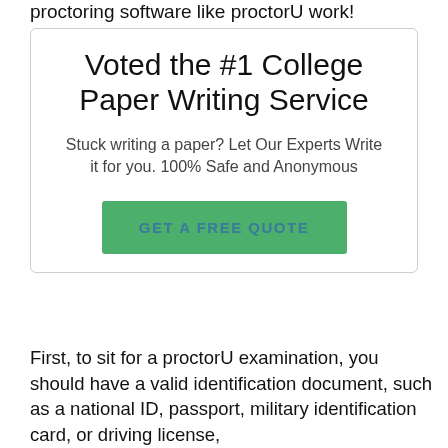proctoring software like proctorU work!
[Figure (infographic): Advertisement box with title 'Voted the #1 College Paper Writing Service', subtitle 'Stuck writing a paper? Let Our Experts Write it for you. 100% Safe and Anonymous', and a green button labeled 'GET A FREE QUOTE']
First, to sit for a proctorU examination, you should have a valid identification document, such as a national ID, passport, military identification card, or driving license,